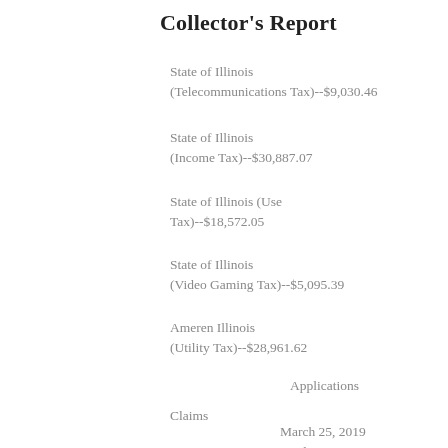Collector's Report
State of Illinois (Telecommunications Tax)--$9,030.46
State of Illinois (Income Tax)--$30,887.07
State of Illinois (Use Tax)--$18,572.05
State of Illinois (Video Gaming Tax)--$5,095.39
Ameren Illinois (Utility Tax)--$28,961.62
Applications
Claims
March 25, 2019
Business Licenses Issued